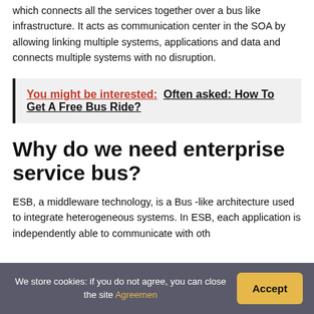which connects all the services together over a bus like infrastructure. It acts as communication center in the SOA by allowing linking multiple systems, applications and data and connects multiple systems with no disruption.
You might be interested:  Often asked: How To Get A Free Bus Ride?
Why do we need enterprise service bus?
ESB, a middleware technology, is a Bus -like architecture used to integrate heterogeneous systems. In ESB, each application is independently able to communicate with other
We store cookies: if you do not agree, you can close the site Agreemen
Accept